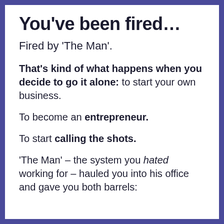You've been fired…
Fired by 'The Man'.
That's kind of what happens when you decide to go it alone: to start your own business.
To become an entrepreneur.
To start calling the shots.
'The Man' – the system you hated working for – hauled you into his office and gave you both barrels: